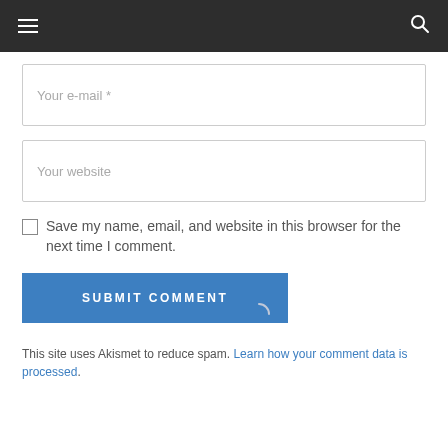Your e-mail *
Your website
Save my name, email, and website in this browser for the next time I comment.
SUBMIT COMMENT
This site uses Akismet to reduce spam. Learn how your comment data is processed.